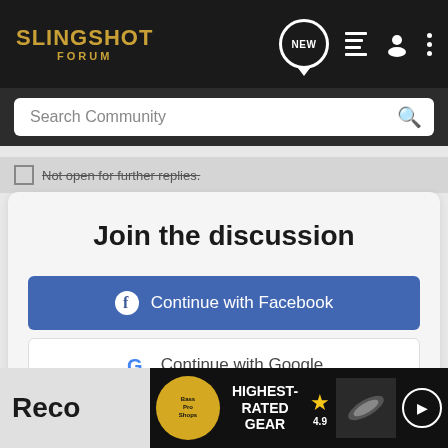SLINGSHOT FORUM
Search Community
Not open for further replies.
Join the discussion
Continue with Facebook
Continue with Google
or sign up with email
Reco
[Figure (screenshot): Bass Pro Shops advertisement banner showing 'HIGHEST-RATED GEAR' with a star rating of 4.9 and a product image]